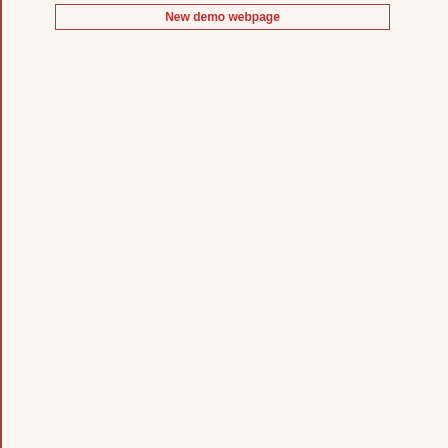New demo webpage
15 C
11 - Galaxy filament detection using the... P. Gernez and X. Descombes and J. Zerub... Conference on Acoustics, Speech and Sign... Keywords : Marked point process, Quality C
12 - Adaptive Simulated Annealing for E... Application. G. Perrin and X. Descombes and J. Zerubia... Pattern Recognition (EMMCVPR), St Augus... Keywords : Simulated Annealing, Marked p... Copyright : Springer Verlag
13 - A Marked Point Process Model for T... G. Perrin and X. Descombes and J. Zerubia... (ICIP), Genoa, Italy, September 2005. Keywords : Stochastic geometry, RJMCMC... process.
14 - Tree Crown Extraction using Marked... G. Perrin and X. Descombes and J. Zerubia... University of Technology, Vienna, Austria, S... Keywords : RJMCMC, Marked point proces... extraction, Stochastic geometry.
15 - Marked Point Process in Image Ana... X. Descombes and F. Kruggel and C. Laco... Conference on Spatial Point Process Mode... Keywords : RJMCMC, Object extraction, M
top of the page